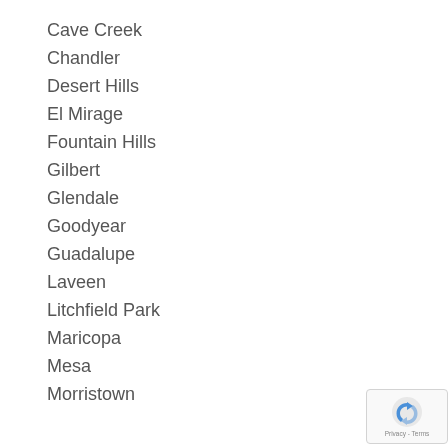Cave Creek
Chandler
Desert Hills
El Mirage
Fountain Hills
Gilbert
Glendale
Goodyear
Guadalupe
Laveen
Litchfield Park
Maricopa
Mesa
Morristown